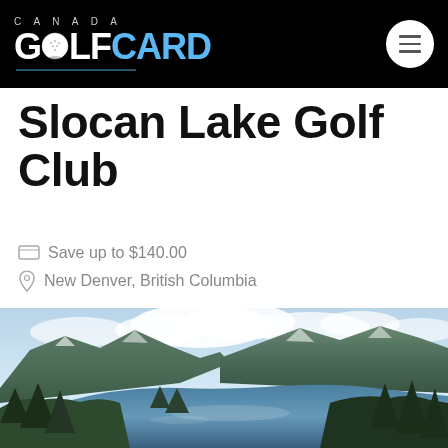Canada Golf Card — navigation header
Slocan Lake Golf Club
Save up to $140.00
New Denver, British Columbia
[Figure (photo): Aerial landscape photograph of Slocan Lake surrounded by forested mountains and clouds in British Columbia, Canada]